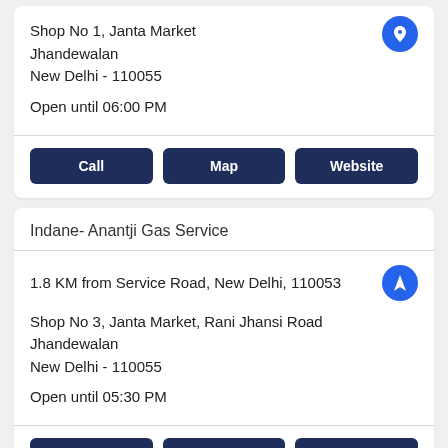Shop No 1, Janta Market
Jhandewalan
New Delhi - 110055

Open until 06:00 PM
Call | Map | Website
Indane- Anantji Gas Service
1.8 KM from Service Road, New Delhi, 110053
Shop No 3, Janta Market, Rani Jhansi Road
Jhandewalan
New Delhi - 110055

Open until 05:30 PM
Call | Map | Website